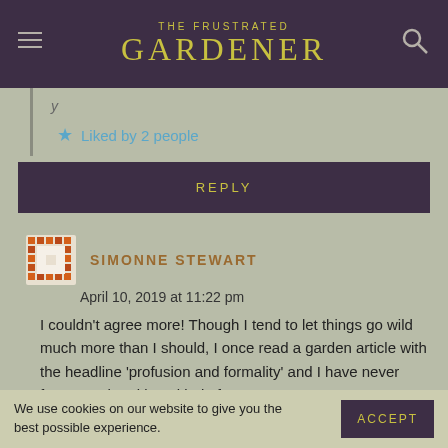THE FRUSTRATED GARDENER
Liked by 2 people
REPLY
SIMONNE STEWART
April 10, 2019 at 11:22 pm
I couldn't agree more! Though I tend to let things go wild much more than I should, I once read a garden article with the headline 'profusion and formality' and I have never forgotten that title. It kind of sums up my
We use cookies on our website to give you the best possible experience.